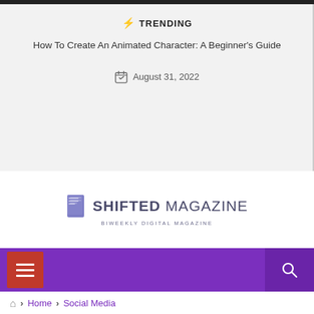⚡ TRENDING
How To Create An Animated Character: A Beginner's Guide
August 31, 2022
[Figure (logo): Shifted Magazine logo - biweekly digital magazine with book icon]
[Figure (infographic): Purple navigation bar with red hamburger menu button on left and search icon on right]
Home > Social Media > Instagram Stories: A Highly Effective Way to Increase...